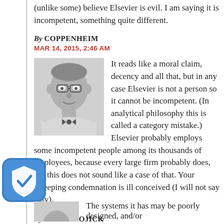(unlike some) believe Elsevier is evil. I am saying it is incompetent, something quite different.
By COPPENHEIM
MAR 14, 2015, 2:46 AM
[Figure (photo): Black and white portrait photo of an older man with glasses]
It reads like a moral claim, decency and all that, but in any case Elsevier is not a person so it cannot be incompetent. (In analytical philosophy this is called a category mistake.) Elsevier probably employs some incompetent people among its thousands of employees, because every large firm probably does, but this does not sound like a case of that. Your sweeping condemnation is ill conceived (I will not say silly).
By DAVID WOJICK
MAR 14, 2015, 5:55 AM
[Figure (illustration): Shield icon with checkmark in blue]
The systems it has may be poorly designed, and/or